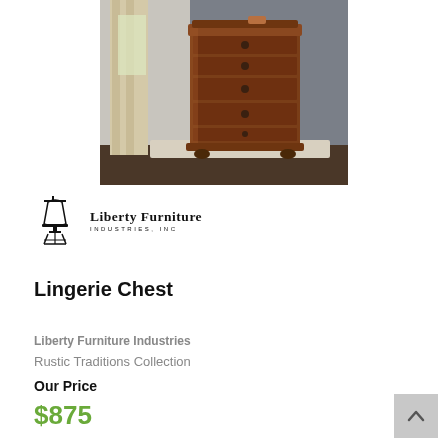[Figure (photo): A tall wooden lingerie chest with 5 drawers and round knob handles, displayed in a room with grey walls and light drapery. The chest has dark cherry-brown finish and ornate bun feet.]
[Figure (logo): Liberty Furniture Industries, Inc. logo featuring a stylized Liberty Bell icon on the left and the company name in serif/sans-serif lettering on the right.]
Lingerie Chest
Liberty Furniture Industries
Rustic Traditions Collection
Our Price
$875